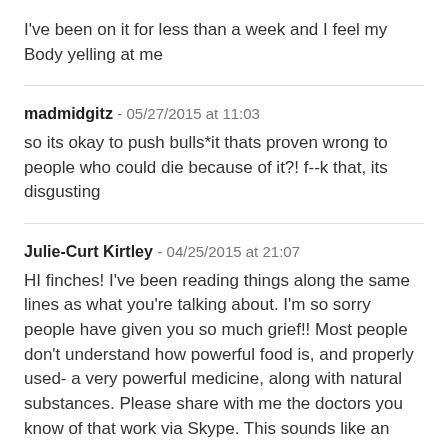I've been on it for less than a week and I feel my Body yelling at me
madmidgitz - 05/27/2015 at 11:03
so its okay to push bulls*it thats proven wrong to people who could die because of it?! f--k that, its disgusting
Julie-Curt Kirtley - 04/25/2015 at 21:07
HI finches! I've been reading things along the same lines as what you're talking about. I'm so sorry people have given you so much grief!! Most people don't understand how powerful food is, and properly used- a very powerful medicine, along with natural substances. Please share with me the doctors you know of that work via Skype. This sounds like an